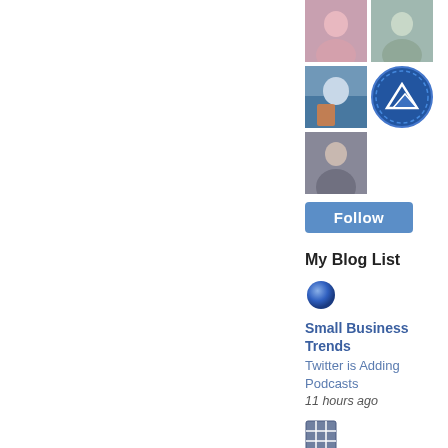[Figure (photo): Two small thumbnail photos of people side by side]
[Figure (photo): Thumbnail photo of person in life jacket on water, and a circular badge/logo icon]
[Figure (photo): Thumbnail photo of person]
Follow
My Blog List
[Figure (other): Blue sphere icon for Small Business Trends blog]
Small Business Trends
Twitter is Adding Podcasts
11 hours ago
[Figure (other): Grid/calendar icon for Jeffbullas's Blog]
Jeffbullas's Blog
SMS Marketing vs. Social Media Ads: Which One Should You Choose?
17 hours ago